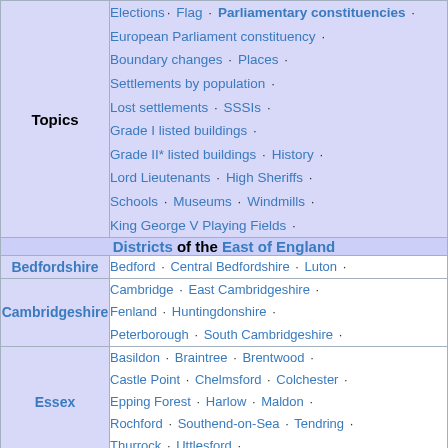| Topics | Elections · Flag · Parliamentary constituencies · European Parliament constituency · Boundary changes · Places · Settlements by population · Lost settlements · SSSIs · Grade I listed buildings · Grade II* listed buildings · History · Lord Lieutenants · High Sheriffs · Schools · Museums · Windmills · King George V Playing Fields · |
| Districts of the East of England |  |
| Bedfordshire | Bedford · Central Bedfordshire · Luton · |
| Cambridgeshire | Cambridge · East Cambridgeshire · Fenland · Huntingdonshire · Peterborough · South Cambridgeshire · |
| Essex | Basildon · Braintree · Brentwood · Castle Point · Chelmsford · Colchester · Epping Forest · Harlow · Maldon · Rochford · Southend-on-Sea · Tendring · Thurrock · Uttlesford · |